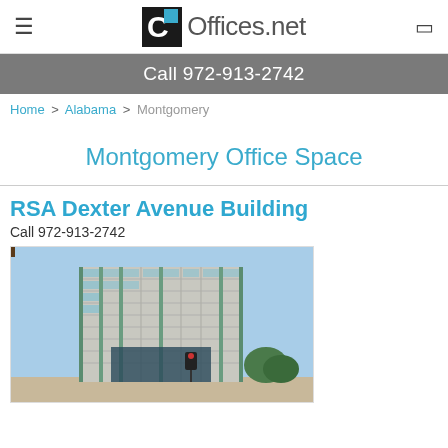≡  Offices.net  □
Call 972-913-2742
Home > Alabama > Montgomery
Montgomery Office Space
RSA Dexter Avenue Building
Call 972-913-2742
[Figure (photo): Exterior photo of RSA Dexter Avenue Building, a modern multi-story office tower with glass and concrete facade under blue sky]